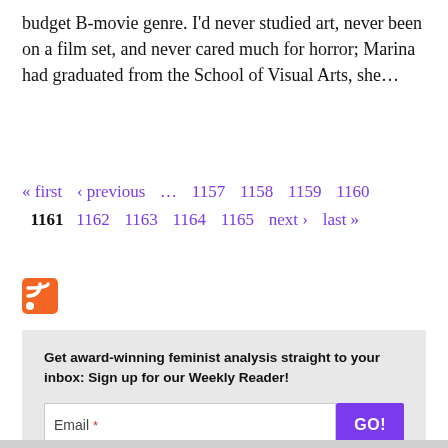budget B-movie genre. I'd never studied art, never been on a film set, and never cared much for horror; Marina had graduated from the School of Visual Arts, she…
« first ‹ previous … 1157 1158 1159 1160 1161 1162 1163 1164 1165 next › last »
[Figure (other): RSS feed icon, orange square with white wifi-like signal lines]
Get award-winning feminist analysis straight to your inbox: Sign up for our Weekly Reader!
Email * GO!